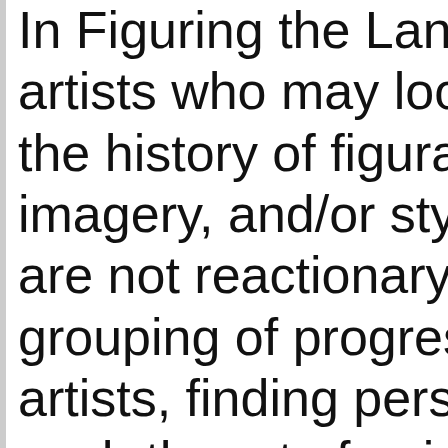In Figuring the Land artists who may look the history of figurative imagery, and/or style are not reactionary. grouping of progressive artists, finding personal push the art of painting